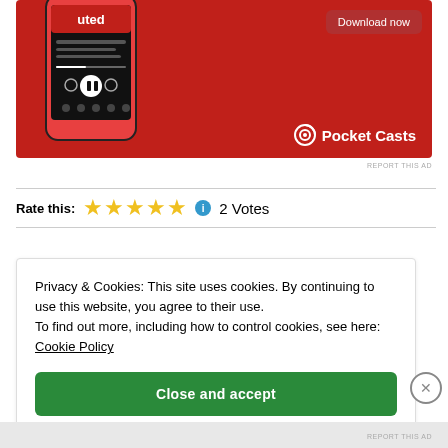[Figure (screenshot): Pocket Casts app advertisement banner with red background, smartphone showing podcast app interface, 'Download now' button, and Pocket Casts logo]
REPORT THIS AD
Rate this: ★★★★★ ℹ 2 Votes
Privacy & Cookies: This site uses cookies. By continuing to use this website, you agree to their use.
To find out more, including how to control cookies, see here: Cookie Policy
Close and accept